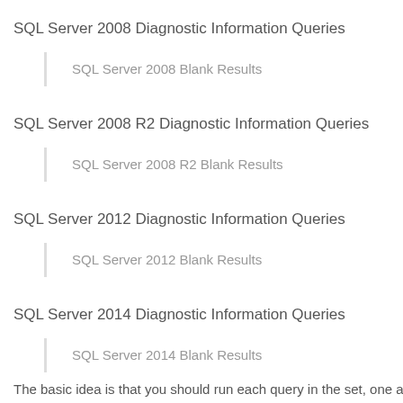SQL Server 2008 Diagnostic Information Queries
SQL Server 2008 Blank Results
SQL Server 2008 R2 Diagnostic Information Queries
SQL Server 2008 R2 Blank Results
SQL Server 2012 Diagnostic Information Queries
SQL Server 2012 Blank Results
SQL Server 2014 Diagnostic Information Queries
SQL Server 2014 Blank Results
The basic idea is that you should run each query in the set, one at a ti…